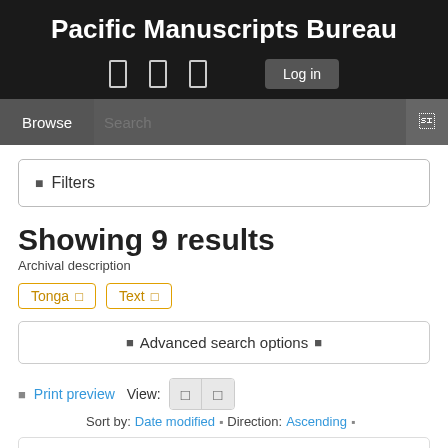Pacific Manuscripts Bureau
Browse | Search | Log in
Filters
Showing 9 results
Archival description
Tonga ×
Text ×
Advanced search options
Print preview  View:  Sort by: Date modified  Direction: Ascending